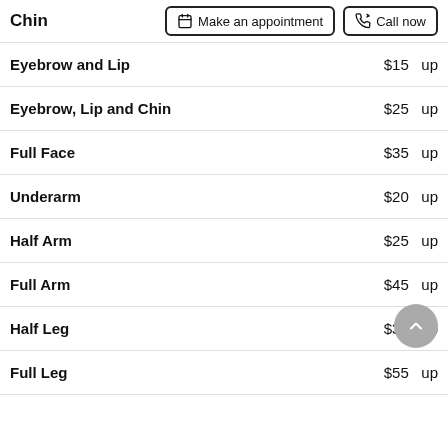Chin
Eyebrow and Lip  $15 & up
Eyebrow, Lip and Chin  $25 & up
Full Face  $35 & up
Underarm  $20 & up
Half Arm  $25 & up
Full Arm  $45 & up
Half Leg  $30 & up
Full Leg  $55 & up